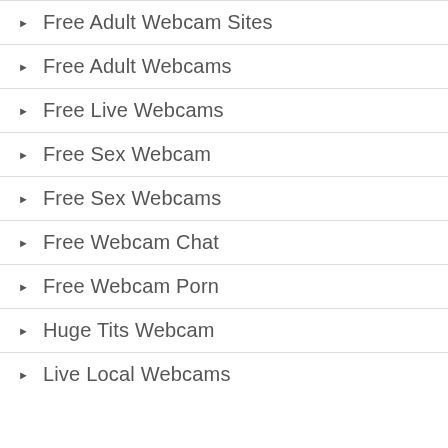Free Adult Webcam Sites
Free Adult Webcams
Free Live Webcams
Free Sex Webcam
Free Sex Webcams
Free Webcam Chat
Free Webcam Porn
Huge Tits Webcam
Live Local Webcams